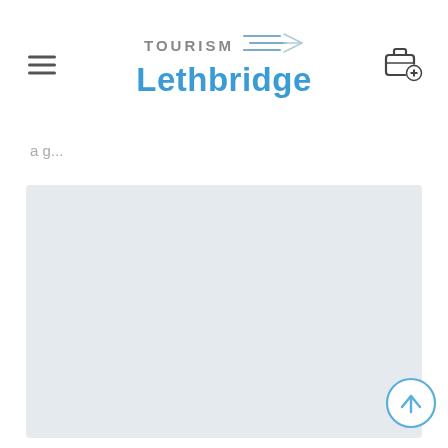Tourism Lethbridge
a g...
[Figure (other): Large light blue-grey placeholder content area rectangle]
[Figure (other): Back to top arrow button (circle with upward arrow)]